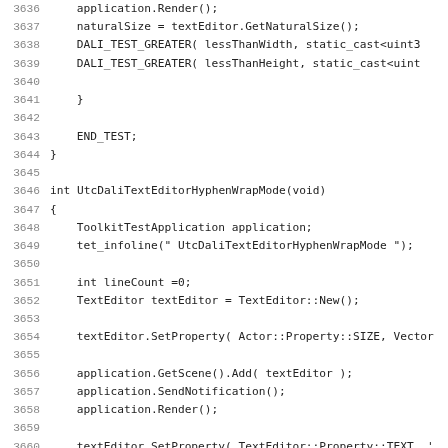[Figure (screenshot): Source code listing showing C++ code for a DALi text editor hyphen wrap mode test, lines 3636-3667. Monospace font on white background with gray line numbers.]